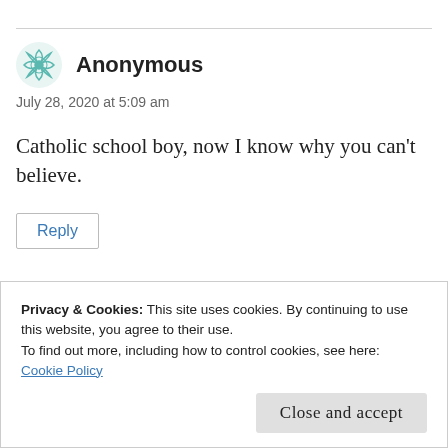Anonymous
July 28, 2020 at 5:09 am
Catholic school boy, now I know why you can't believe.
Reply
Privacy & Cookies: This site uses cookies. By continuing to use this website, you agree to their use.
To find out more, including how to control cookies, see here: Cookie Policy
Close and accept